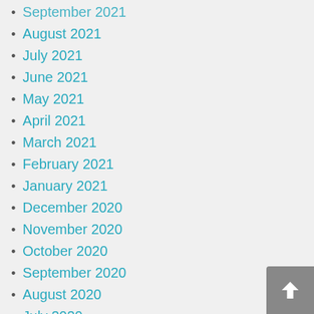September 2021
August 2021
July 2021
June 2021
May 2021
April 2021
March 2021
February 2021
January 2021
December 2020
November 2020
October 2020
September 2020
August 2020
July 2020
June 2020
May 2020
April 2020
March 2020
February 2020
January 2020